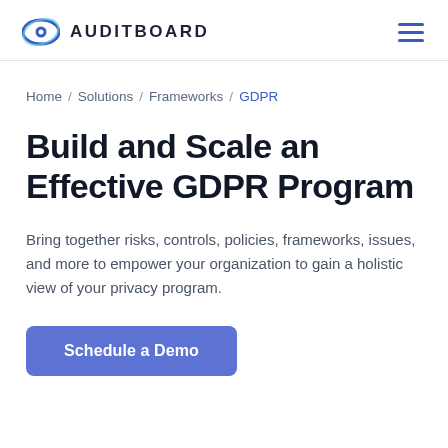AUDITBOARD
Home / Solutions / Frameworks / GDPR
Build and Scale an Effective GDPR Program
Bring together risks, controls, policies, frameworks, issues, and more to empower your organization to gain a holistic view of your privacy program.
Schedule a Demo